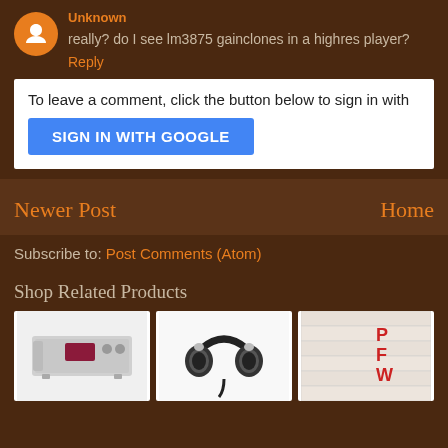really? do I see lm3875 gainclones in a highres player?
Reply
To leave a comment, click the button below to sign in with
SIGN IN WITH GOOGLE
Newer Post
Home
Subscribe to: Post Comments (Atom)
Shop Related Products
[Figure (photo): Silver hi-fi network audio player/streamer]
[Figure (photo): Black over-ear headphones]
[Figure (photo): Album cover partially visible]